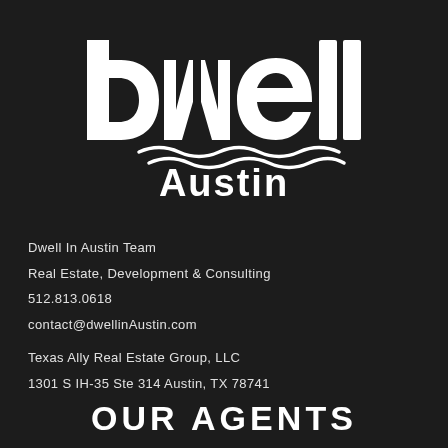[Figure (logo): Dwell Austin logo — white text on dark background with wave design beneath the letters]
Dwell In Austin Team
Real Estate, Development & Consulting
512.813.0618
contact@dwellinAustin.com

Texas Ally Real Estate Group, LLC
1301 S IH-35 Ste 314 Austin, TX 78741
OUR AGENTS